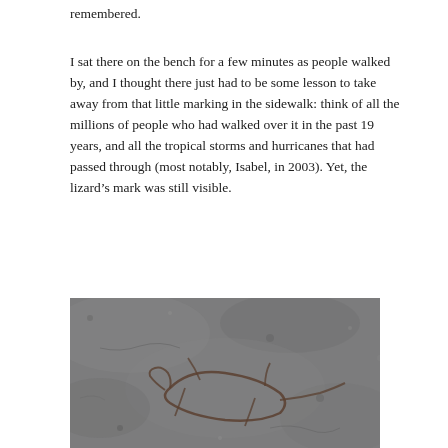remembered.
I sat there on the bench for a few minutes as people walked by, and I thought there just had to be some lesson to take away from that little marking in the sidewalk: think of all the millions of people who had walked over it in the past 19 years, and all the tropical storms and hurricanes that had passed through (most notably, Isabel, in 2003). Yet, the lizard’s mark was still visible.
[Figure (photo): Close-up photograph of a cracked sidewalk or pavement showing a lizard-shaped impression or fossil-like mark in the concrete, with cracks radiating outward. The surface is grey and textured.]